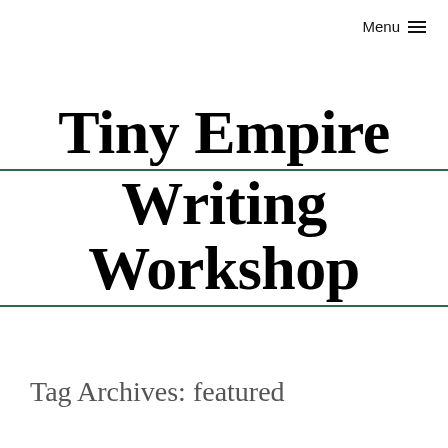Menu ☰
Tiny Empire Writing Workshop
Tag Archives: featured